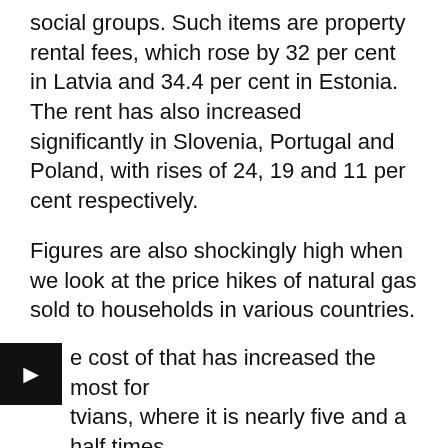social groups. Such items are property rental fees, which rose by 32 per cent in Latvia and 34.4 per cent in Estonia. The rent has also increased significantly in Slovenia, Portugal and Poland, with rises of 24, 19 and 11 per cent respectively.
Figures are also shockingly high when we look at the price hikes of natural gas sold to households in various countries.
e cost of that has increased the most for tvians, where it is nearly five and a half times higher than a year earlier. In Croatia, the increase was 270 per cent until April this year. There are, however, several other countries where prices have more than tripled. In Belgium and Estonia, the price of natural gas has risen by 230 and 237 per cent respectively, while in Greece it has more than doubled in a year. In Romania, gas prices have quadrupled at some suppliers